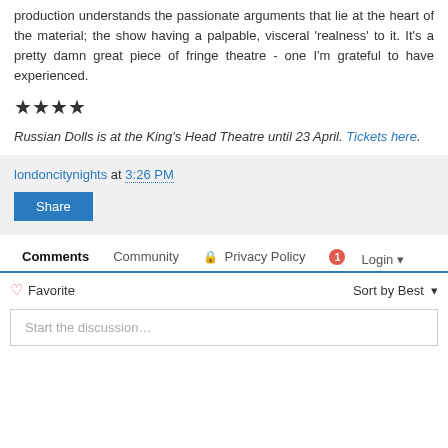production understands the passionate arguments that lie at the heart of the material; the show having a palpable, visceral 'realness' to it. It's a pretty damn great piece of fringe theatre - one I'm grateful to have experienced.
★★★★
Russian Dolls is at the King's Head Theatre until 23 April. Tickets here.
londoncitynights at 3:26 PM
Share
Comments  Community  🔒 Privacy Policy  1  Login
♡ Favorite   Sort by Best
Start the discussion...